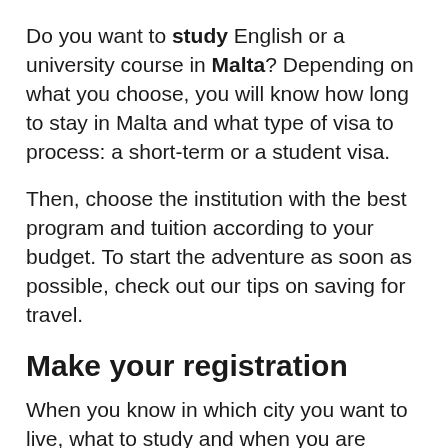Do you want to study English or a university course in Malta? Depending on what you choose, you will know how long to stay in Malta and what type of visa to process: a short-term or a student visa.
Then, choose the institution with the best program and tuition according to your budget. To start the adventure as soon as possible, check out our tips on saving for travel.
Make your registration
When you know in which city you want to live, what to study and when you are going to do it,